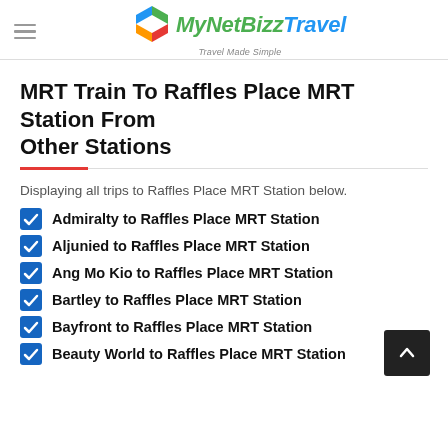MyNetBizz Travel — Travel Made Simple
MRT Train To Raffles Place MRT Station From Other Stations
Displaying all trips to Raffles Place MRT Station below.
Admiralty to Raffles Place MRT Station
Aljunied to Raffles Place MRT Station
Ang Mo Kio to Raffles Place MRT Station
Bartley to Raffles Place MRT Station
Bayfront to Raffles Place MRT Station
Beauty World to Raffles Place MRT Station